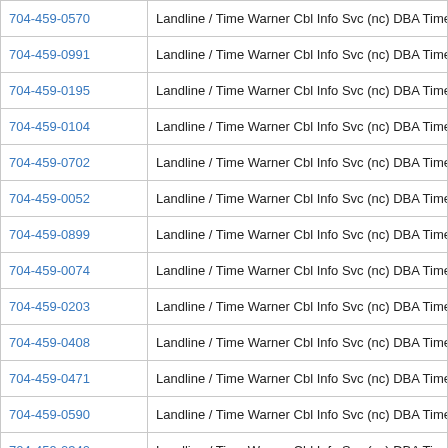| Phone | Type / Carrier |
| --- | --- |
| 704-459-0570 | Landline / Time Warner Cbl Info Svc (nc) DBA Time Warner Cbl |
| 704-459-0991 | Landline / Time Warner Cbl Info Svc (nc) DBA Time Warner Cbl |
| 704-459-0195 | Landline / Time Warner Cbl Info Svc (nc) DBA Time Warner Cbl |
| 704-459-0104 | Landline / Time Warner Cbl Info Svc (nc) DBA Time Warner Cbl |
| 704-459-0702 | Landline / Time Warner Cbl Info Svc (nc) DBA Time Warner Cbl |
| 704-459-0052 | Landline / Time Warner Cbl Info Svc (nc) DBA Time Warner Cbl |
| 704-459-0899 | Landline / Time Warner Cbl Info Svc (nc) DBA Time Warner Cbl |
| 704-459-0074 | Landline / Time Warner Cbl Info Svc (nc) DBA Time Warner Cbl |
| 704-459-0203 | Landline / Time Warner Cbl Info Svc (nc) DBA Time Warner Cbl |
| 704-459-0408 | Landline / Time Warner Cbl Info Svc (nc) DBA Time Warner Cbl |
| 704-459-0471 | Landline / Time Warner Cbl Info Svc (nc) DBA Time Warner Cbl |
| 704-459-0590 | Landline / Time Warner Cbl Info Svc (nc) DBA Time Warner Cbl |
| 704-459-0340 | Landline / Time Warner Cbl Info Svc (nc) DBA Time Warner Cbl |
| 704-459-0525 | Landline / Time Warner Cbl Info Svc (nc) DBA Time Warner Cbl |
| 704-459-0591 | Landline / Time Warner Cbl Info Svc (nc) DBA Time W... |
| 704-459-0263 | Landline / Time Warner Cbl Info Svc (nc) DBA Time War... Cbl |
| 704-459-0970 | Landline / Time Warner Cbl Info Svc (nc) DBA Time Warner Cbl |
| 704-459-0441 | Landline / Time Warner Cbl Info Svc (nc) DBA Time Warner Cbl |